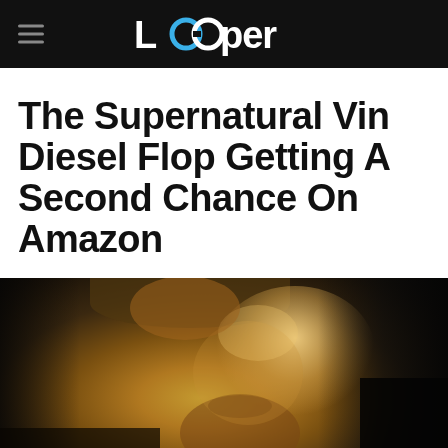Looper
The Supernatural Vin Diesel Flop Getting A Second Chance On Amazon
[Figure (photo): A bearded man with reddish-brown hair illuminated dramatically by warm golden light against a dark background, looking upward.]